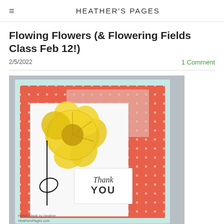HEATHER'S PAGES
Flowing Flowers (& Flowering Fields Class Feb 12!)
2/5/2022
1 Comment
[Figure (photo): A handmade greeting card with a large yellow flower on a coral/orange polka dot background with a 'Thank You' sentiment panel, displayed on a light blue card base.]